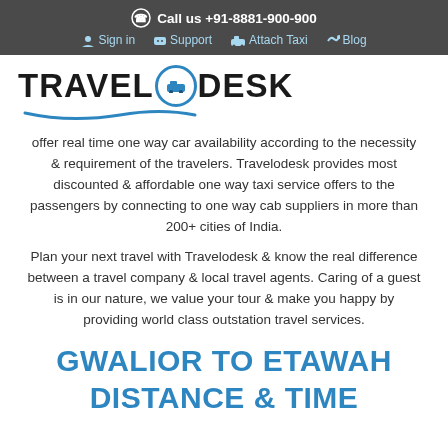Call us +91-8881-900-900 | Sign in | Support | Attach Taxi | Blog
[Figure (logo): TravelODesk logo with car icon inside letter O and blue swoosh underline]
offer real time one way car availability according to the necessity & requirement of the travelers. Travelodesk provides most discounted & affordable one way taxi service offers to the passengers by connecting to one way cab suppliers in more than 200+ cities of India.
Plan your next travel with Travelodesk & know the real difference between a travel company & local travel agents. Caring of a guest is in our nature, we value your tour & make you happy by providing world class outstation travel services.
GWALIOR TO ETAWAH DISTANCE & TIME